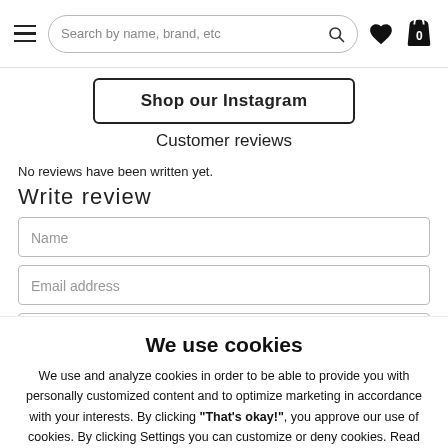Search by name, brand, etc
Shop our Instagram
Customer reviews
No reviews have been written yet.
Write review
Name
Email address
Write your review here
We use cookies
We use and analyze cookies in order to be able to provide you with personally customized content and to optimize marketing in accordance with your interests. By clicking "That's okay!", you approve our use of cookies. By clicking Settings you can customize or deny cookies. Read more about how we use cookies here.